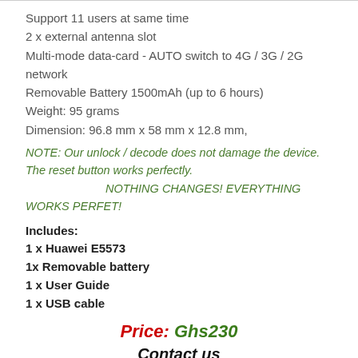Support 11 users at same time
2 x external antenna slot
Multi-mode data-card - AUTO switch to 4G / 3G / 2G network
Removable Battery 1500mAh (up to 6 hours)
Weight:  95 grams
Dimension: 96.8 mm x 58 mm x 12.8 mm,
NOTE: Our unlock / decode does not damage the device. The reset button works perfectly. NOTHING CHANGES! EVERYTHING WORKS PERFET!
Includes:
1 x Huawei E5573
1x Removable battery
1 x User Guide
1 x USB cable
Price: Ghs230
Contact us